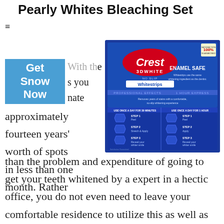Pearly Whites Bleaching Set
[Figure (photo): Crest 3D White No Slip Whitestrips product box showing Professional Effects and 1 Hour Express variants, with Enamel Safe label and step-by-step usage instructions.]
Get Snow Now
approximately fourteen years' worth of spots in less than one month. Rather than the problem and expenditure of going to get your teeth whitened by a expert in a hectic office, you do not even need to leave your comfortable residence to utilize this as well as get the very same results.